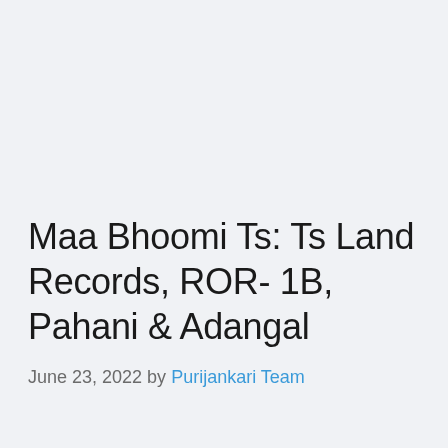Maa Bhoomi Ts: Ts Land Records, ROR- 1B, Pahani & Adangal
June 23, 2022 by Purijankari Team